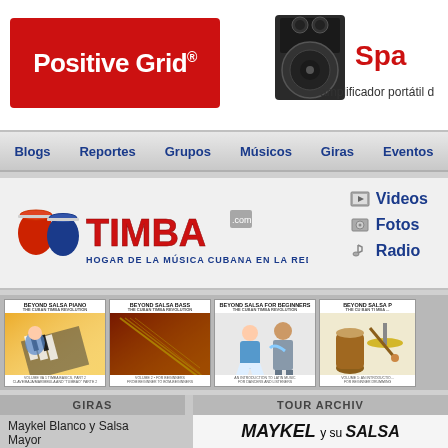[Figure (screenshot): Positive Grid advertisement banner with red logo box, speaker image, and 'Spa' text with 'amplificador portátil d' tagline]
Blogs | Reportes | Grupos | Músicos | Giras | Eventos
[Figure (logo): Timba.com logo with bongo drums and text 'HOGAR DE LA MÚSICA CUBANA EN LA RED!']
Videos
Fotos
Radio
[Figure (screenshot): Four book covers: Beyond Salsa Piano, Beyond Salsa Bass, Beyond Salsa for Beginners, Beyond Salsa P...]
GIRAS
Maykel Blanco y Salsa Mayor
TOUR ARCHIV
MAYKEL y su SALSA